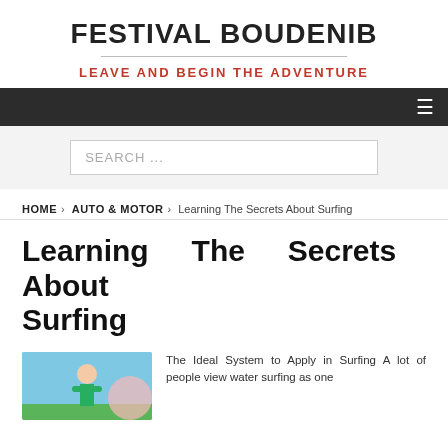FESTIVAL BOUDENIB
LEAVE AND BEGIN THE ADVENTURE
≡ (hamburger menu)
SEARCH ...
HOME › AUTO & MOTOR › Learning The Secrets About Surfing
Learning The Secrets About Surfing
[Figure (photo): Person in green jacket with blue sky background]
The Ideal System to Apply in Surfing A lot of people view water surfing as one